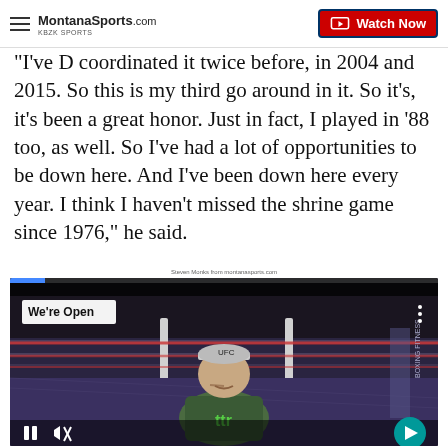MontanaSports.com | Watch Now
"I've D coordinated it twice before, in 2004 and 2015. So this is my third go around in it. So it's, it's been a great honor. Just in fact, I played in '88 too, as well. So I've had a lot of opportunities to be down here. And I've been down here every year. I think I haven't missed the shrine game since 1976," he said.
Steven Monks from montanasports.com
[Figure (screenshot): Video player showing a man sitting in a boxing gym wearing a cap and green t-shirt. Overlay text reads 'We're Open'. Bottom controls show pause button, mute button, and a teal arrow button. A blue progress bar is visible at the top of the player.]